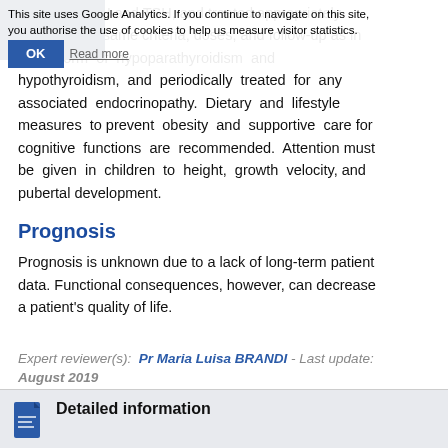rticular to PTH and TSH, and treated appropriately following the same criteria, doses, and follow-up as in other form of hypoparathyroidism and hypothyroidism, and periodically treated for any associated endocrinopathy. Dietary and lifestyle measures to prevent obesity and supportive care for cognitive functions are recommended. Attention must be given in children to height, growth velocity, and pubertal development.
Prognosis
Prognosis is unknown due to a lack of long-term patient data. Functional consequences, however, can decrease a patient's quality of life.
Expert reviewer(s): Pr Maria Luisa BRANDI - Last update: August 2019
Detailed information